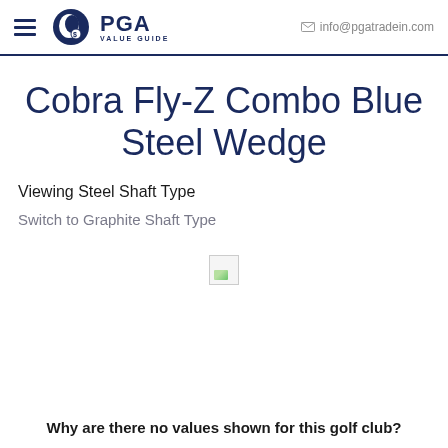PGA VALUE GUIDE | info@pgatradein.com
Cobra Fly-Z Combo Blue Steel Wedge
Viewing Steel Shaft Type
Switch to Graphite Shaft Type
[Figure (other): Broken image placeholder icon]
Why are there no values shown for this golf club?